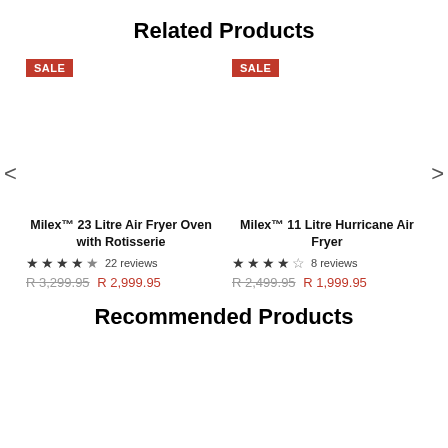Related Products
SALE
SALE
Milex™ 23 Litre Air Fryer Oven with Rotisserie
22 reviews
R 3,299.95 R 2,999.95
Milex™ 11 Litre Hurricane Air Fryer
8 reviews
R 2,499.95 R 1,999.95
Recommended Products